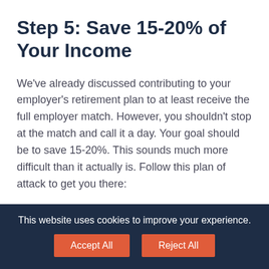Step 5: Save 15-20% of Your Income
We've already discussed contributing to your employer's retirement plan to at least receive the full employer match. However, you shouldn't stop at the match and call it a day. Your goal should be to save 15-20%. This sounds much more difficult than it actually is. Follow this plan of attack to get you there:
Take the full employer match first.
This website uses cookies to improve your experience.